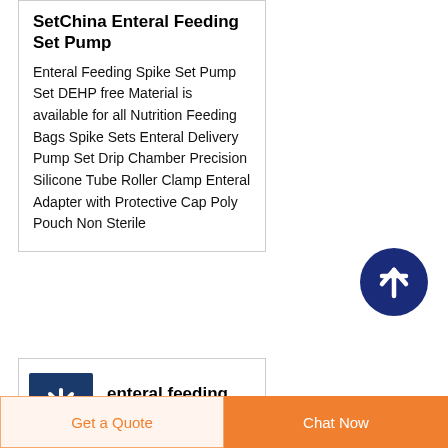SetChina Enteral Feeding Set Pump
Enteral Feeding Spike Set Pump Set DEHP free Material is available for all Nutrition Feeding Bags Spike Sets Enteral Delivery Pump Set Drip Chamber Precision Silicone Tube Roller Clamp Enteral Adapter with Protective Cap Poly Pouch Non Sterile
[Figure (illustration): Dark blue circular button with white upward arrow, scroll-to-top UI element]
[Figure (logo): Dark blue square icon with white asterisk/snowflake-like symbol representing enteral feeding bag pump set brand]
enteral feeding bag pump set
Get a Quote
Chat Now